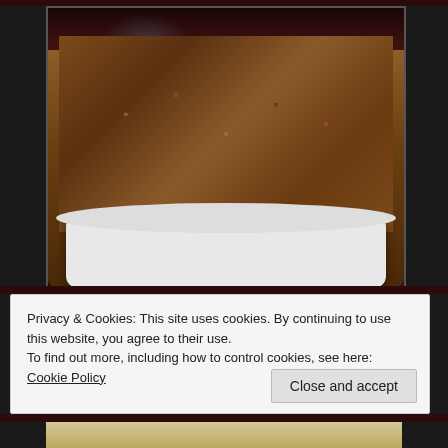[Figure (photo): A white rectangular baking dish filled with crumbled ground meat mixture, placed on a table with wine glasses and red cup visible in background]
Privacy & Cookies: This site uses cookies. By continuing to use this website, you agree to their use.
To find out more, including how to control cookies, see here: Cookie Policy
Close and accept